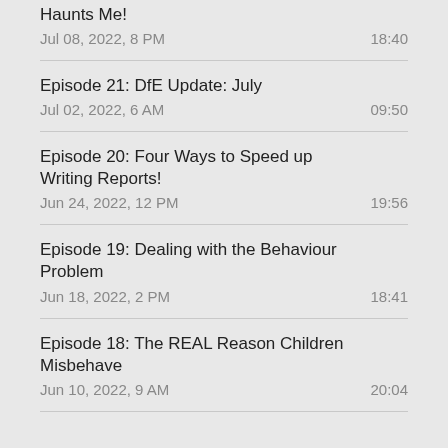Haunts Me!
Jul 08, 2022, 8 PM	18:40
Episode 21: DfE Update: July
Jul 02, 2022, 6 AM	09:50
Episode 20: Four Ways to Speed up Writing Reports!
Jun 24, 2022, 12 PM	19:56
Episode 19: Dealing with the Behaviour Problem
Jun 18, 2022, 2 PM	18:41
Episode 18: The REAL Reason Children Misbehave
Jun 10, 2022, 9 AM	20:04